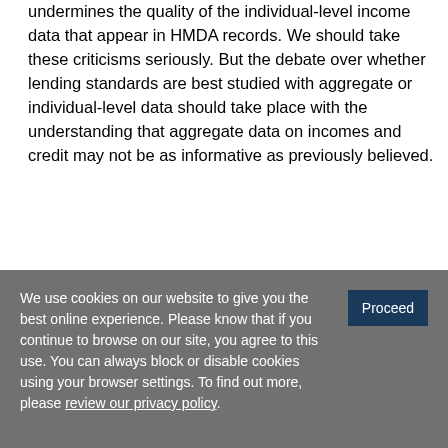undermines the quality of the individual-level income data that appear in HMDA records. We should take these criticisms seriously. But the debate over whether lending standards are best studied with aggregate or individual-level data should take place with the understanding that aggregate data on incomes and credit may not be as informative as previously believed.
By Chris Foote, senior economist and policy adviser at the Federal Reserve Bank of Boston, Kris
We use cookies on our website to give you the best online experience. Please know that if you continue to browse on our site, you agree to this use. You can always block or disable cookies using your browser settings. To find out more, please review our privacy policy.